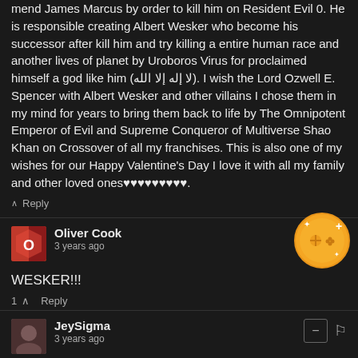mend James Marcus by order to kill him on Resident Evil 0. He is responsible creating Albert Wesker who become his successor after kill him and try killing a entire human race and another lives of planet by Uroboros Virus for proclaimed himself a god like him (لا إله إلا الله). I wish the Lord Ozwell E. Spencer with Albert Wesker and other villains I chose them in my mind for years to bring them back to life by The Omnipotent Emperor of Evil and Supreme Conqueror of Multiverse Shao Khan on Crossover of all my franchises. This is also one of my wishes for our Happy Valentine's Day I love it with all my family and other loved ones♥♥♥♥♥♥♥♥♥.
Reply
Oliver Cook
3 years ago
WESKER!!!
1  Reply
JeySigma
3 years ago
Woops, and here I though Alex Wesker was a man in the past.. damn she looks fine.